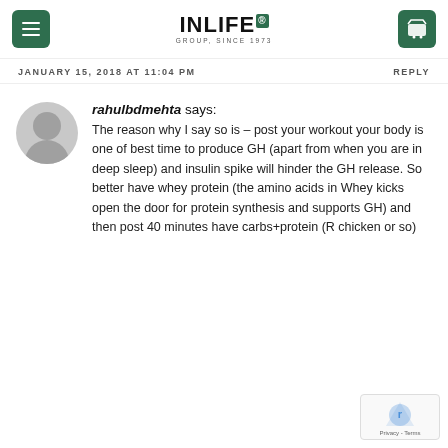INLIFE GROUP, SINCE 1973 [logo with menu and cart buttons]
JANUARY 15, 2018 AT 11:04 PM
REPLY
rahulbdmehta says: The reason why I say so is – post your workout your body is one of best time to produce GH (apart from when you are in deep sleep) and insulin spike will hinder the GH release. So better have whey protein (the amino acids in Whey kicks open the door for protein synthesis and supports GH) and then post 40 minutes have carbs+protein (R chicken or so)